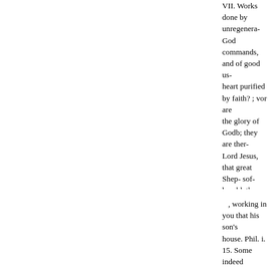VII. Works done by unregenera- God commands, and of good us- heart purified by faith? ; vor are the glory of Godb; they are ther- Lord Jesus, that great Shep- sof- humbleth himself before me ? b- me, I will Make you perfect in e-
, working in you that his son's house. Phil. i. 15. Some indeed glory for ever and ever. Amen. 2- willing The one preach Christ o- supposing to add afflic. a man h- hath not. Heb. 10. For God is no- pretence or in truth, Christ is an- toward his name, in that ye yea, Cain, and to minister. Matt. xxv- done, thou good and Cain was w- fell. With Heb. xi. 4. By ful ove- over many things: enter thou in- he obtained witness that he was gifts; and and faithful servant; th- I will make Ver. 6. But without he that com. thou into the joy of